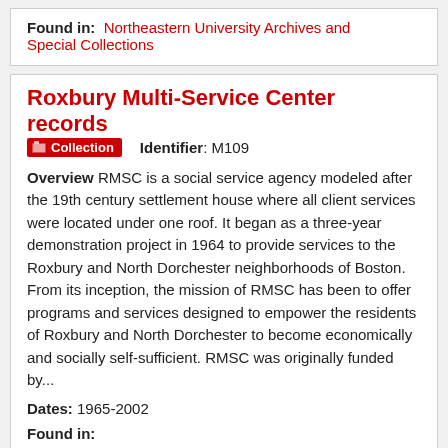Found in: Northeastern University Archives and Special Collections
Roxbury Multi-Service Center records
Collection   Identifier: M109
Overview RMSC is a social service agency modeled after the 19th century settlement house where all client services were located under one roof. It began as a three-year demonstration project in 1964 to provide services to the Roxbury and North Dorchester neighborhoods of Boston. From its inception, the mission of RMSC has been to offer programs and services designed to empower the residents of Roxbury and North Dorchester to become economically and socially self-sufficient. RMSC was originally funded by...
Dates: 1965-2002
Found in: Northeastern University Archives and Special Collections